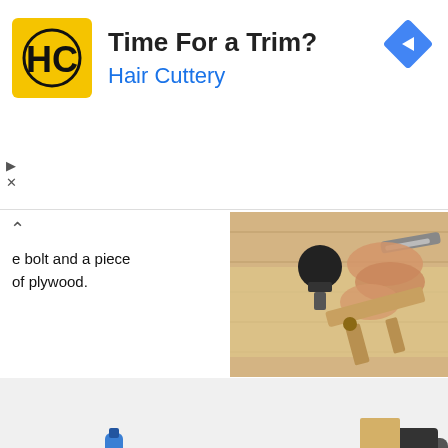[Figure (screenshot): Advertisement banner for Hair Cuttery. Yellow logo with HC letters, headline 'Time For a Trim?', subline 'Hair Cuttery', blue navigation badge on right, play and X controls on left.]
e bolt and a piece of plywood.
[Figure (photo): Hands tightening a black wing nut bolt on wooden boards, with a screwdriver and a wooden clamp/jig visible on a light-colored plywood surface.]
[Figure (photo): Workshop scene with light pine wood workbench or jig, blue spray can, black tools including what appears to be a drill or router on the right edge, cables on the floor, white wall background.]